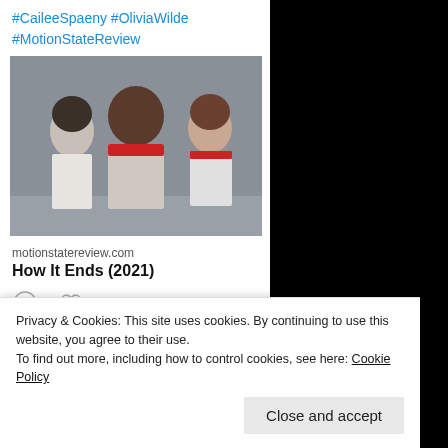#CaileeSpaeny #OliviaWilde #MotionStateReview
[Figure (photo): Movie still showing three people in a locker room scene, one with back turned wearing red collar shirt, one in white blouse, one in red and white sports jacket]
motionstatereview.com
How It Ends (2021)
Motion Sta...
Privacy & Cookies: This site uses cookies. By continuing to use this website, you agree to their use.
To find out more, including how to control cookies, see here: Cookie Policy
Close and accept
#OmarSy — in the lead.